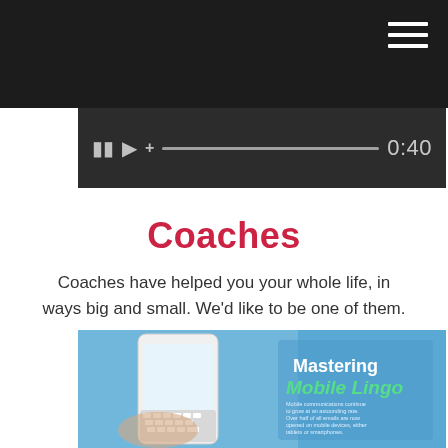[Figure (screenshot): Dark top navigation bar with hamburger menu icon (three white horizontal lines) on the right, and a video player controls strip below showing pause, play, add buttons, a progress bar, and time stamp 0:40]
Coaches
Coaches have helped you your whole life, in ways big and small. We'd like to be one of them.
[Figure (photo): Photo of hands holding a smartphone with a messaging/typing interface visible, alongside a printed card reading 'Mastering Mobile Lingo' with body text about mobile communications. Blue background with a white phone and keyboard visible.]